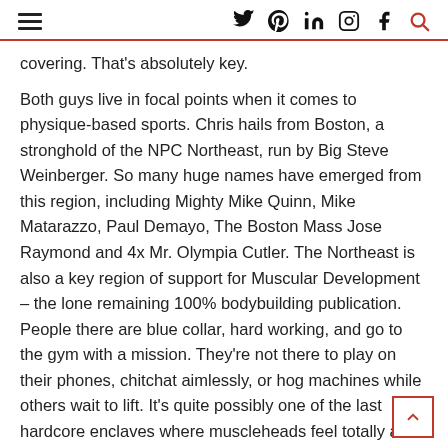≡  [social icons: twitter, pinterest, linkedin, instagram, facebook, search]
covering. That's absolutely key.
Both guys live in focal points when it comes to physique-based sports. Chris hails from Boston, a stronghold of the NPC Northeast, run by Big Steve Weinberger. So many huge names have emerged from this region, including Mighty Mike Quinn, Mike Matarazzo, Paul Demayo, The Boston Mass Jose Raymond and 4x Mr. Olympia Cutler. The Northeast is also a key region of support for Muscular Development – the lone remaining 100% bodybuilding publication. People there are blue collar, hard working, and go to the gym with a mission. They're not there to play on their phones, chitchat aimlessly, or hog machines while others wait to lift. It's quite possibly one of the last hardcore enclaves where muscleheads feel totally at